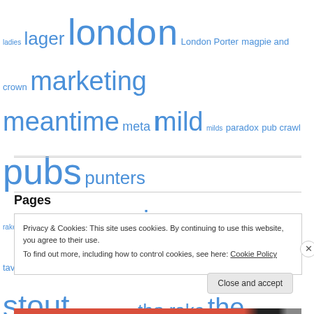ladies lager london London Porter magpie and crown marketing meantime meta mild milds paradox pub crawl pubs punters rake rauchbier scotland session shepherd neame ship tavern stone stout swill telly theakston the rake the session ugly americans victory women and beer youtube zeitgeist
Pages
Privacy & Cookies: This site uses cookies. By continuing to use this website, you agree to their use. To find out more, including how to control cookies, see here: Cookie Policy
Close and accept